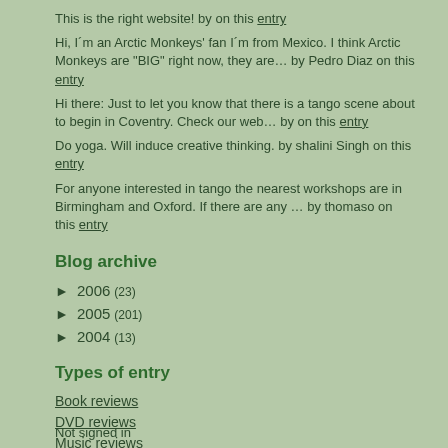This is the right website! by on this entry
Hi, I´m an Arctic Monkeys' fan I´m from Mexico. I think Arctic Monkeys are "BIG" right now, they are… by Pedro Diaz on this entry
Hi there: Just to let you know that there is a tango scene about to begin in Coventry. Check our web… by on this entry
Do yoga. Will induce creative thinking. by shalini Singh on this entry
For anyone interested in tango the nearest workshops are in Birmingham and Oxford. If there are any … by thomaso on this entry
Blog archive
► 2006 (23)
► 2005 (201)
► 2004 (13)
Types of entry
Book reviews
DVD reviews
Music reviews
Video game reviews
Movie reviews
TV show reviews
Prompt responses
Not signed in